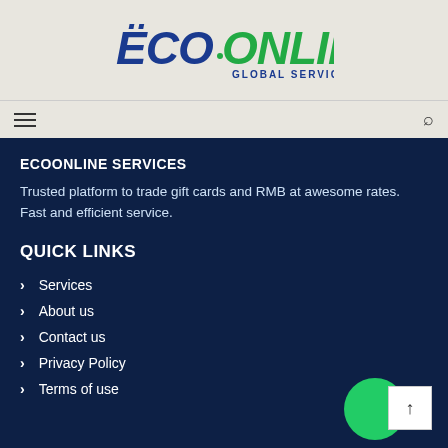[Figure (logo): Eco Online Global Services logo with blue and green stylized text]
ECOONLINE SERVICES
Trusted platform to trade gift cards and RMB at awesome rates. Fast and efficient service.
QUICK LINKS
Services
About us
Contact us
Privacy Policy
Terms of use